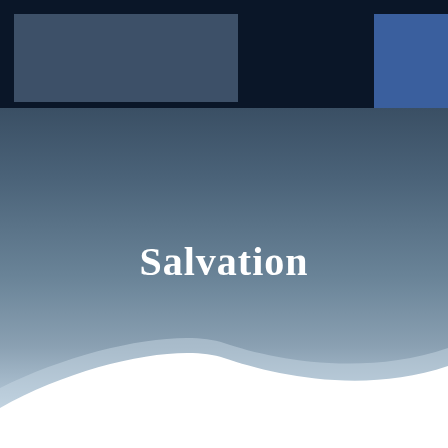[Figure (illustration): Cover page design with dark navy top band, gray-blue rectangle on top-left, medium blue rectangle on top-right, blue-gray gradient background fading to white at bottom, and white wave shape at the bottom.]
Salvation